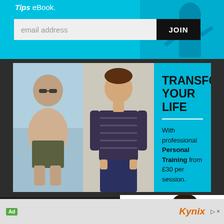Tips eBook.
email address
JOIN
[Figure (photo): Before and after fitness transformation photos: overweight man on left, slim man in striped polo shirt on right]
TRANSFORM YOUR LIFE
With professional Personal Training from £30 per session.
CORPORATE FITNESS
A healthier workforce is a happier workforce
[Figure (photo): Man in business suit lifting a dumbbell]
Ad
Kynix